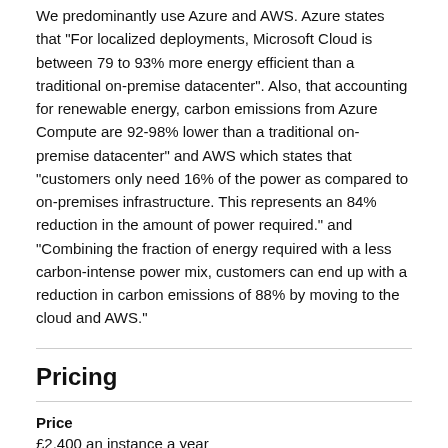We predominantly use Azure and AWS. Azure states that "For localized deployments, Microsoft Cloud is between 79 to 93% more energy efficient than a traditional on-premise datacenter". Also, that accounting for renewable energy, carbon emissions from Azure Compute are 92-98% lower than a traditional on-premise datacenter" and AWS which states that "customers only need 16% of the power as compared to on-premises infrastructure. This represents an 84% reduction in the amount of power required." and "Combining the fraction of energy required with a less carbon-intense power mix, customers can end up with a reduction in carbon emissions of 88% by moving to the cloud and AWS."
Pricing
Price
£2,400 an instance a year
Discount for educational organisations